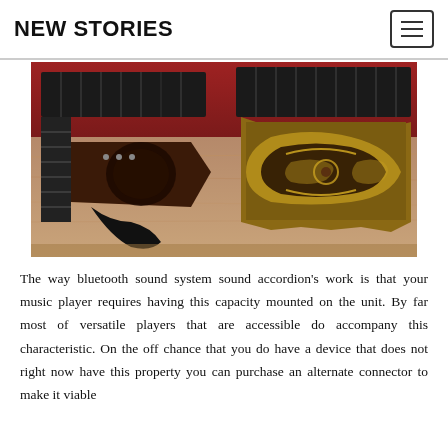NEW STORIES
[Figure (photo): Two concertina accordions sitting on a wooden table with a red wall background. The left one is open showing its bellows, and the right one is closed showing decorative fretwork on the end.]
The way bluetooth sound system sound accordion's work is that your music player requires having this capacity mounted on the unit. By far most of versatile players that are accessible do accompany this characteristic. On the off chance that you do have a device that does not right now have this property you can purchase an alternate connector to make it viable